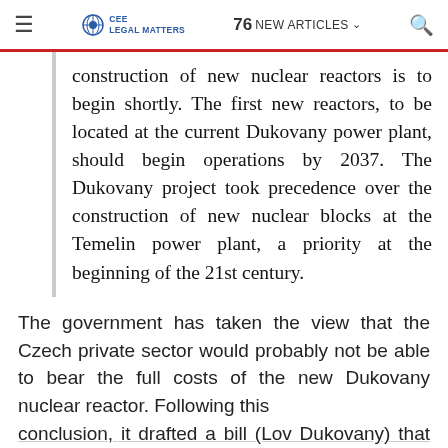≡  CEE LEGAL MATTERS  76 NEW ARTICLES ∨  🔍
construction of new nuclear reactors is to begin shortly. The first new reactors, to be located at the current Dukovany power plant, should begin operations by 2037. The Dukovany project took precedence over the construction of new nuclear blocks at the Temelin power plant, a priority at the beginning of the 21st century.
The government has taken the view that the Czech private sector would probably not be able to bear the full costs of the new Dukovany nuclear reactor. Following this conclusion, it drafted a bill (Lov Dukovany) that would